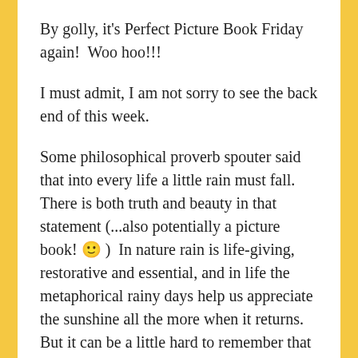By golly, it's Perfect Picture Book Friday again!  Woo hoo!!!
I must admit, I am not sorry to see the back end of this week.
Some philosophical proverb spouter said that into every life a little rain must fall.  There is both truth and beauty in that statement (...also potentially a picture book! 🙂 )  In nature rain is life-giving, restorative and essential, and in life the metaphorical rainy days help us appreciate the sunshine all the more when it returns.  But it can be a little hard to remember that when you're standing bare-headed in the downpour 🙂
Be that as it may, the weekend approacheth with sunshiny promises of family time, maybe a hike if it doesn't rain, maybe a movie if it does, and at least a few